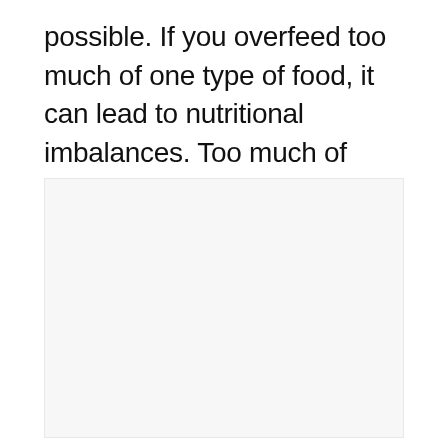possible. If you overfeed too much of one type of food, it can lead to nutritional imbalances. Too much of certain vitamins and minerals can lead to deficiencies in others.
[Figure (photo): A faint, nearly blank image placeholder with very light gray background and barely visible content.]